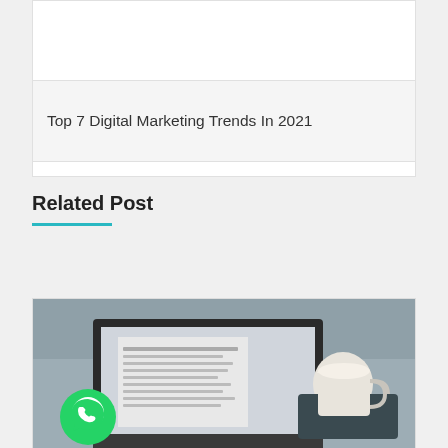[Figure (screenshot): Partial view of a previous post box, white background, top of page]
Top 7 Digital Marketing Trends In 2021
Related Post
[Figure (photo): Photo of a person using a MacBook laptop on a couch next to a mug, with a WhatsApp icon badge overlaid in the lower left corner]